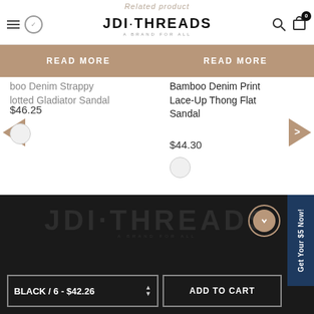Related product — JDI·THREADS — A brand for all
[Figure (screenshot): READ MORE button for Bamboo Denim Strappy Knotted Gladiator Sandal]
Bamboo Denim Strappy Knotted Gladiator Sandal
$46.25
[Figure (screenshot): READ MORE button for Bamboo Denim Print Lace-Up Thong Flat Sandal]
Bamboo Denim Print Lace-Up Thong Flat Sandal
$44.30
BLACK / 6 - $42.26
ADD TO CART
Get Your $5 Now!